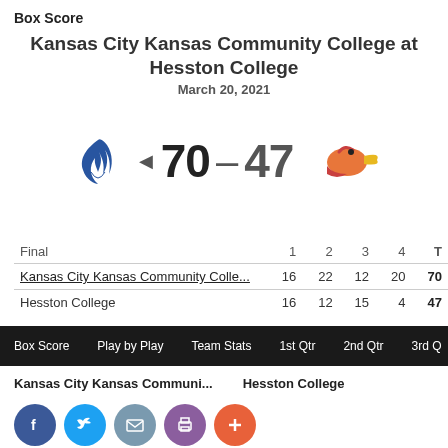Box Score
Kansas City Kansas Community College at Hesston College
March 20, 2021
[Figure (infographic): Score display: KCKCC logo (blue flame), arrow, score 70-47, Hesston College bird logo]
| Final | 1 | 2 | 3 | 4 | T |
| --- | --- | --- | --- | --- | --- |
| Kansas City Kansas Community Colle... | 16 | 22 | 12 | 20 | 70 |
| Hesston College | 16 | 12 | 15 | 4 | 47 |
Box Score   Play by Play   Team Stats   1st Qtr   2nd Qtr   3rd Q
Kansas City Kansas Communi...   Hesston College
[Figure (infographic): Social media share buttons: Facebook, Twitter, Email, Print, Plus]